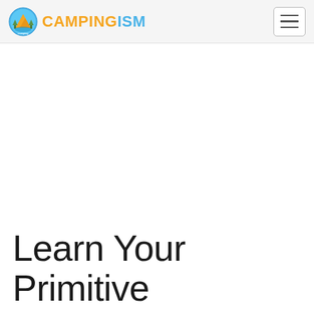CAMPINGISM
[Figure (photo): Large blank white hero image area below the navigation bar]
Learn Your Primitive